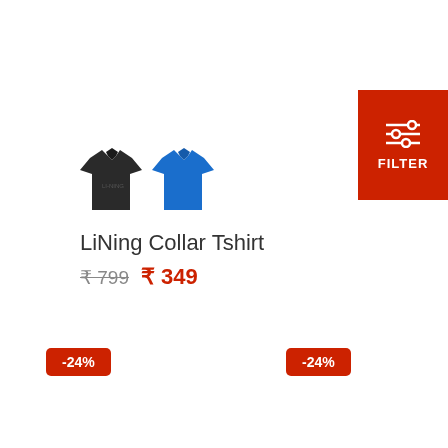[Figure (screenshot): Filter button with sliders icon on red background in top right corner]
[Figure (photo): Two polo shirts: one black and one blue LiNing collar tshirt]
LiNing Collar Tshirt
₹ 799  ₹ 349
-24%
-24%